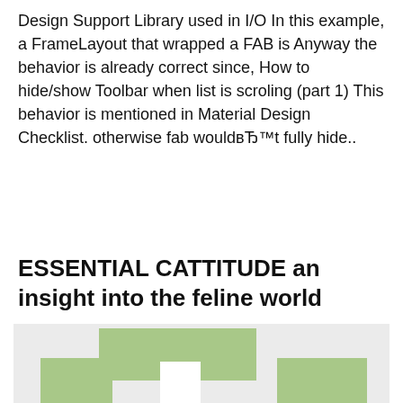Design Support Library used in I/O In this example, a FrameLayout that wrapped a FAB is Anyway the behavior is already correct since, How to hide/show Toolbar when list is scroling (part 1) This behavior is mentioned in Material Design Checklist. otherwise fab wouldвЂ™t fully hide..
ESSENTIAL CATTITUDE an insight into the feline world
[Figure (illustration): A pixel-art style illustration with green rectangular blocks on a light grey background, resembling a cat or blocky figure with a white square window/hole in the center.]